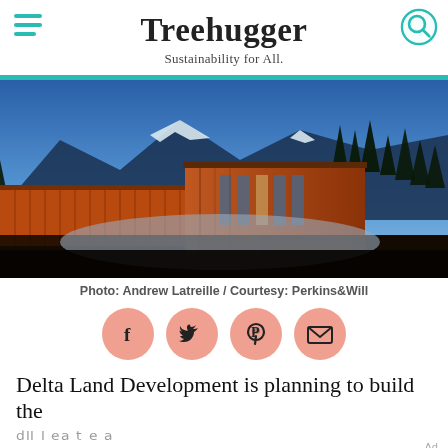Treehugger — Sustainability for All.
[Figure (photo): Exterior photo of a modern modular building with orange/wood cladding set in a snowy mountain landscape with evergreen trees at dusk/dawn, blue sky in background.]
Photo: Andrew Latreille / Courtesy: Perkins&Will
[Figure (infographic): Four salmon/coral colored circular social sharing buttons: Facebook (f), Twitter (bird), Pinterest (P), Email (envelope)]
Delta Land Development is planning to build the